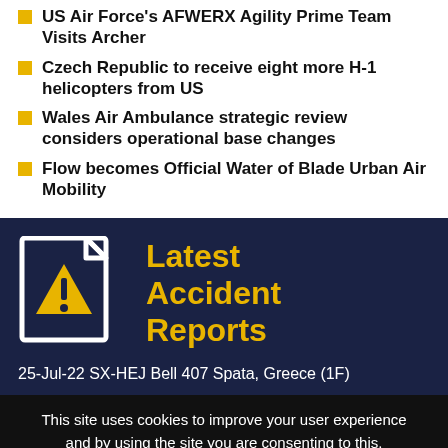US Air Force's AFWERX Agility Prime Team Visits Archer
Czech Republic to receive eight more H-1 helicopters from US
Wales Air Ambulance strategic review considers operational base changes
Flow becomes Official Water of Blade Urban Air Mobility
[Figure (illustration): Dark navy document icon with a yellow warning triangle containing an exclamation mark, next to the text 'Latest Accident Reports' in yellow bold font on a dark navy background]
25-Jul-22 SX-HEJ Bell 407 Spata, Greece (1F)
This site uses cookies to improve your user experience and by using the site you are consenting to this. Click 'I accept' to close this notice or find out why we use cookies and how to manage your settings.
I accept